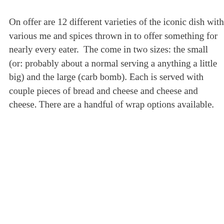On offer are 12 different varieties of the iconic dish with various me and spices thrown in to offer something for nearly every eater. The come in two sizes: the small (or: probably about a normal serving a anything a little big) and the large (carb bomb). Each is served with couple pieces of bread and cheese and cheese and cheese. There are a handful of wrap options available.